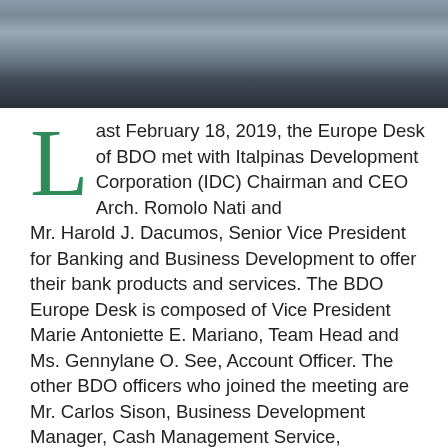[Figure (photo): Group photo of people standing together, likely BDO and IDC representatives at their meeting.]
Last February 18, 2019, the Europe Desk of BDO met with Italpinas Development Corporation (IDC) Chairman and CEO Arch. Romolo Nati and Mr. Harold J. Dacumos, Senior Vice President for Banking and Business Development to offer their bank products and services. The BDO Europe Desk is composed of Vice President Marie Antoniette E. Mariano, Team Head and Ms. Gennylane O. See, Account Officer. The other BDO officers who joined the meeting are Mr. Carlos Sison, Business Development Manager, Cash Management Service, International Desk, Ms. Amphy Kris Arana and Lani Calasicas, Account Offciers, CLG-Home Loans. The Europe Desk handles companies partly or wholly- owned by Europeans like IDC, being partly an